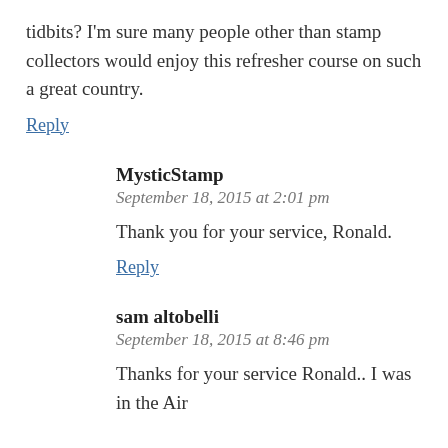tidbits? I'm sure many people other than stamp collectors would enjoy this refresher course on such a great country.
Reply
MysticStamp
September 18, 2015 at 2:01 pm
Thank you for your service, Ronald.
Reply
sam altobelli
September 18, 2015 at 8:46 pm
Thanks for your service Ronald.. I was in the Air